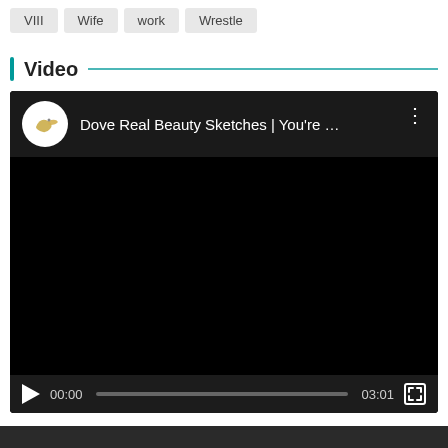VIII
Wife
work
Wrestle
Video
[Figure (screenshot): Embedded video player showing 'Dove Real Beauty Sketches | You're ...' with a Dove channel icon, black video area, play button, timestamp 00:00, progress bar, duration 03:01, and fullscreen button.]